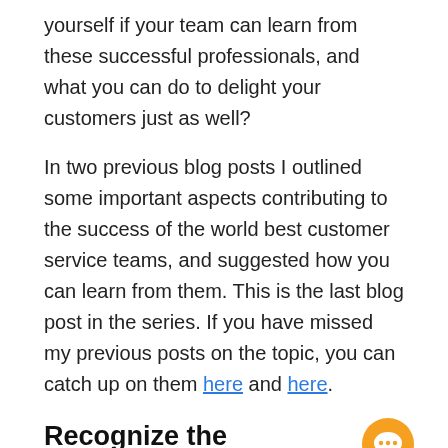yourself if your team can learn from these successful professionals, and what you can do to delight your customers just as well?
In two previous blog posts I outlined some important aspects contributing to the success of the world best customer service teams, and suggested how you can learn from them. This is the last blog post in the series. If you have missed my previous posts on the topic, you can catch up on them here and here.
Recognize the Importance of Customer Service
Customer service is not a department. It's a